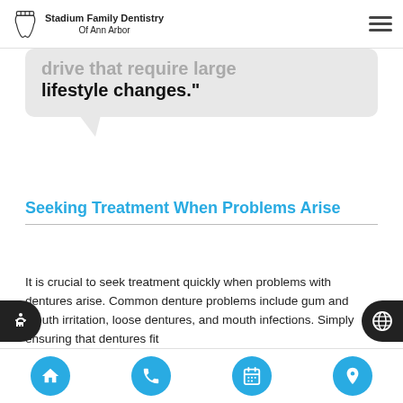Stadium Family Dentistry Of Ann Arbor
drive that require large lifestyle changes."
Seeking Treatment When Problems Arise
It is crucial to seek treatment quickly when problems with dentures arise. Common denture problems include gum and mouth irritation, loose dentures, and mouth infections. Simply ensuring that dentures fit